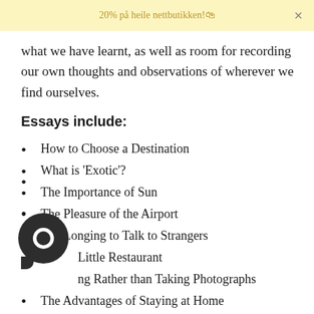20% på heile nettbutikken!🛍
what we have learnt, as well as room for recording our own thoughts and observations of wherever we find ourselves.
Essays include:
How to Choose a Destination
What is 'Exotic'?
The Importance of Sun
The Pleasure of the Airport
The Longing to Talk to Strangers
The Little Restaurant
Drawing Rather than Taking Photographs
The Advantages of Staying at Home